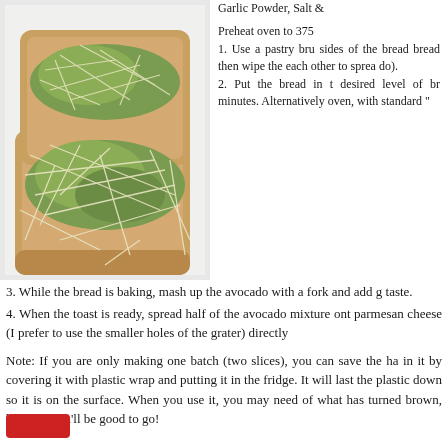[Figure (photo): Two slices of toast topped with mashed avocado and shredded parmesan cheese with sprouts, viewed from above on white paper.]
Garlic Powder, Salt &
Preheat oven to 375
1. Use a pastry bru sides of the bread bread then wipe the each other to sprea do).
2. Put the bread in t desired level of br minutes. Alternatively oven, with standard "
3. While the bread is baking, mash up the avocado with a fork and add g taste.
4. When the toast is ready, spread half of the avocado mixture ont parmesan cheese (I prefer to use the smaller holes of the grater) directly
Note: If you are only making one batch (two slices), you can save the ha in it by covering it with plastic wrap and putting it in the fridge. It will last the plastic down so it is on the surface. When you use it, you may need of what has turned brown, but then you'll be good to go!
[Figure (other): Red button/icon at bottom left]